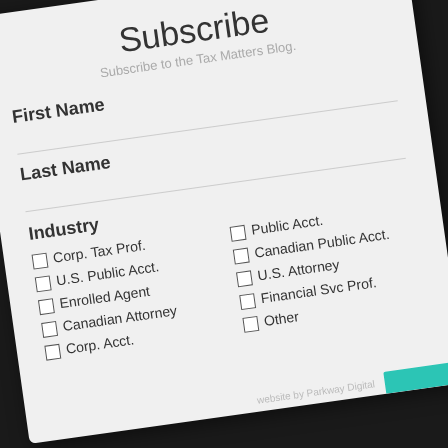Subscribe
Subscribe to the Tax Matters Blog.
First Name
Last Name
Industry
Corp. Tax Prof.
U.S. Public Acct.
Enrolled Agent
Canadian Attorney
Corp. Acct.
Public Acct.
Canadian Public Acct.
U.S. Attorney
Financial Svc Prof.
Other
website by Parkway Digital